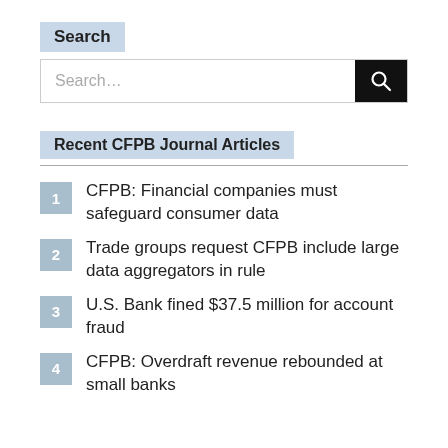Search
[Figure (screenshot): Search input bar with magnifying glass icon button]
Recent CFPB Journal Articles
CFPB: Financial companies must safeguard consumer data
Trade groups request CFPB include large data aggregators in rule
U.S. Bank fined $37.5 million for account fraud
CFPB: Overdraft revenue rebounded at small banks